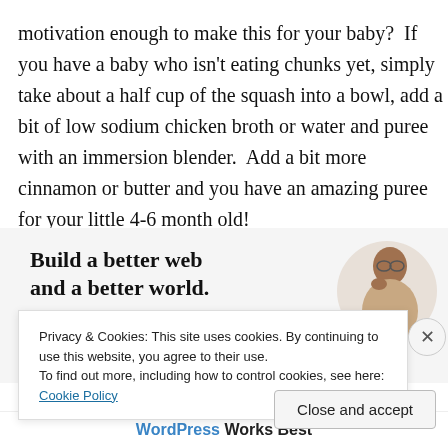motivation enough to make this for your baby?  If you have a baby who isn't eating chunks yet, simply take about a half cup of the squash into a bowl, add a bit of low sodium chicken broth or water and puree with an immersion blender.  Add a bit more cinnamon or butter and you have an amazing puree for your little 4-6 month old!
[Figure (infographic): WordPress advertisement banner: 'Build a better web and a better world.' with a blue Apply button and a circular photo of a man thinking on the right side.]
Privacy & Cookies: This site uses cookies. By continuing to use this website, you agree to their use.
To find out more, including how to control cookies, see here: Cookie Policy
Close and accept
WordPress Works Best